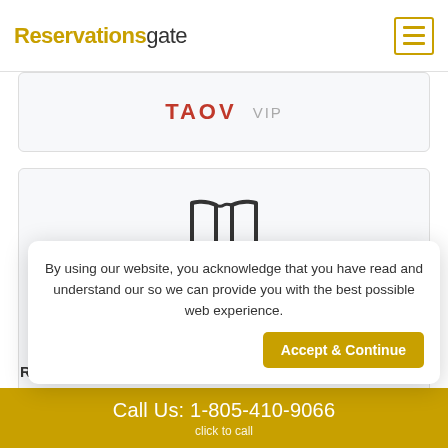Reservationsgate
[Figure (screenshot): Partial hotel/travel card with red text 'TAOV' and lighter text 'VIP']
[Figure (illustration): Map/location icon (open book/map outline)]
Address
Avenida Amilcar Cabral,PO Box 1,Praia Cap e Verde
By using our website, you acknowledge that you have read and understand our so we can provide you with the best possible web experience.
Accept & Continue
Reg
Call Us: 1-805-410-9066
click to call